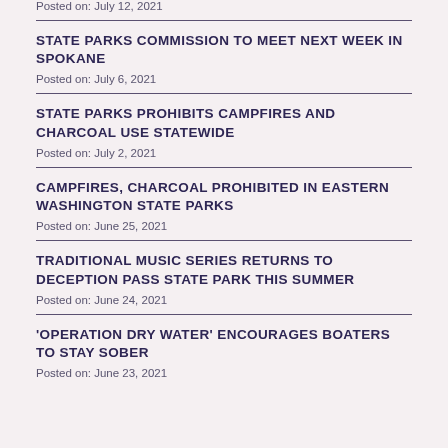Posted on: July 12, 2021
STATE PARKS COMMISSION TO MEET NEXT WEEK IN SPOKANE
Posted on: July 6, 2021
STATE PARKS PROHIBITS CAMPFIRES AND CHARCOAL USE STATEWIDE
Posted on: July 2, 2021
CAMPFIRES, CHARCOAL PROHIBITED IN EASTERN WASHINGTON STATE PARKS
Posted on: June 25, 2021
TRADITIONAL MUSIC SERIES RETURNS TO DECEPTION PASS STATE PARK THIS SUMMER
Posted on: June 24, 2021
'OPERATION DRY WATER' ENCOURAGES BOATERS TO STAY SOBER
Posted on: June 23, 2021